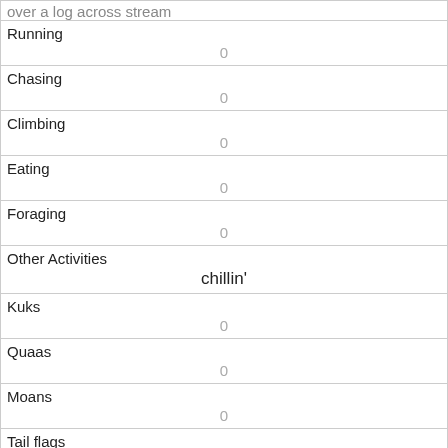| over a log across stream |  |
| Running | 0 |
| Chasing | 0 |
| Climbing | 0 |
| Eating | 0 |
| Foraging | 0 |
| Other Activities | chillin' |
| Kuks | 0 |
| Quaas | 0 |
| Moans | 0 |
| Tail flags | 0 |